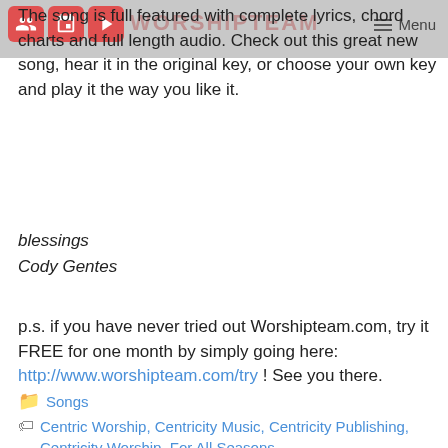WORSHIPTEAM
The song is full featured with complete lyrics, chord charts and full length audio. Check out this great new song, hear it in the original key, or choose your own key and play it the way you like it.
blessings
Cody Gentes
p.s. if you have never tried out Worshipteam.com, try it FREE for one month by simply going here: http://www.worshipteam.com/try ! See you there.
Songs
Centric Worship, Centricity Music, Centricity Publishing, Centricity Worship, For All Seasons,